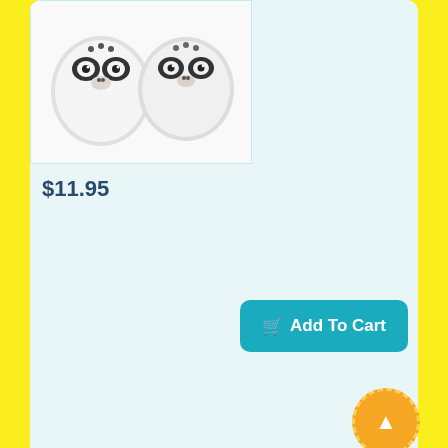$11.95
[Figure (photo): Panda-themed salt and pepper shakers on a white background]
Add To Cart
Club Salsa 11cm Triangle
[Figure (photo): Metal triangle musical instrument with a beater stick, displayed against a white background]
$5.00
Add To Cart